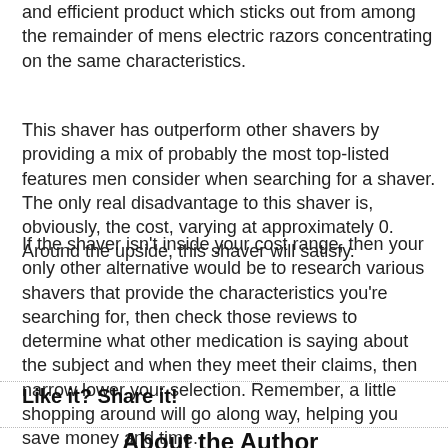and efficient product which sticks out from among the remainder of mens electric razors concentrating on the same characteristics.
This shaver has outperform other shavers by providing a mix of probably the most top-listed features men consider when searching for a shaver. The only real disadvantage to this shaver is, obviously, the cost, varying at approximately 0. Around the upside, this shaver will satisfy.
If the shaver isn't inside your cost range, then your only other alternative would be to research various shavers that provide the characteristics you're searching for, then check those reviews to determine what other medication is saying about the subject and when they meet their claims, then narrow lower your selection. Remember, a little shopping around will go along way, helping you save money and time.
Like it? Share it!
[Figure (logo): Orange and grey arrow/swoosh logo icon for 'About the Author' section]
About the Author
Absolutely